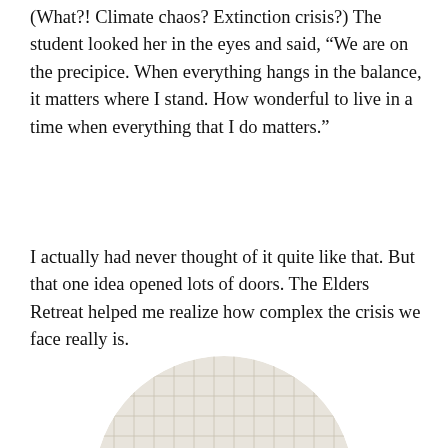(What?! Climate chaos? Extinction crisis?) The student looked her in the eyes and said, “We are on the precipice. When everything hangs in the balance, it matters where I stand. How wonderful to live in a time when everything that I do matters.”
I actually had never thought of it quite like that. But that one idea opened lots of doors. The Elders Retreat helped me realize how complex the crisis we face really is.
[Figure (photo): A circular cropped photo showing a plate of food on a table with a checkered tablecloth. The plate appears to contain a tortilla or flatbread with toppings including shredded cheese and other ingredients, accompanied by what looks like a side item. A fork is visible to the right of the plate.]